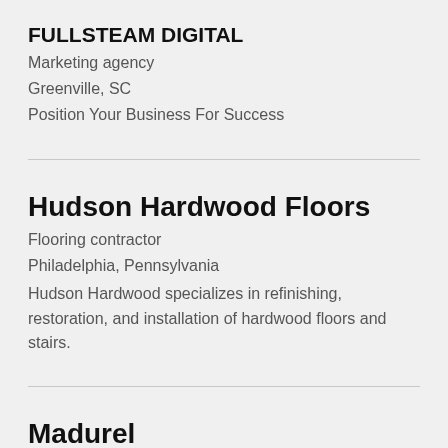FULLSTEAM DIGITAL
Marketing agency
Greenville, SC
Position Your Business For Success
Hudson Hardwood Floors
Flooring contractor
Philadelphia, Pennsylvania
Hudson Hardwood specializes in refinishing, restoration, and installation of hardwood floors and stairs.
Madurel